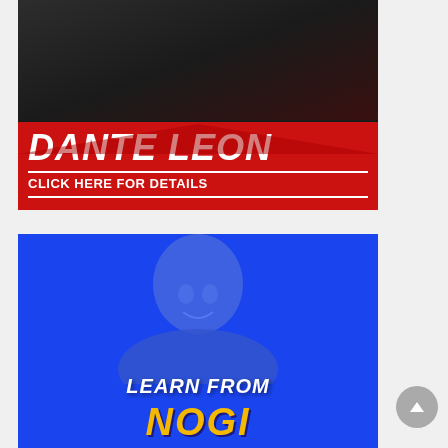[Figure (photo): Promotional banner for Dante Leon featuring athlete photo with red overlay. Large bold white text reads 'DANTE LEON' and 'CLICK HERE FOR DETAILS' on red background.]
[Figure (photo): Promotional banner with blue background showing bald man's face with blue tint overlay. Text reads 'LEARN FROM' in white italic and 'NOGI' in large yellow letters.]